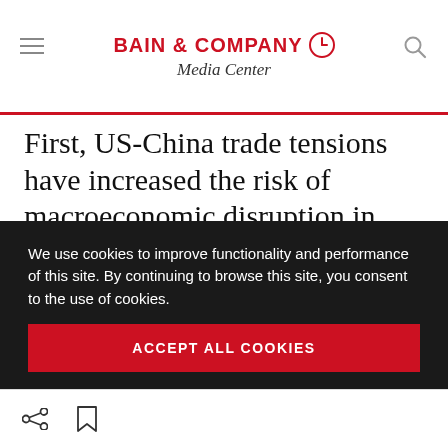BAIN & COMPANY Media Center
First, US-China trade tensions have increased the risk of macroeconomic disruption in China and across the region. At the same time, deal prices have remained high but interest rates are rising steadily after a period of decline, a trend that will increase the cost of funding and could put a brake on future multiple expansion
We use cookies to improve functionality and performance of this site. By continuing to browse this site, you consent to the use of cookies.
ACCEPT ALL COOKIES